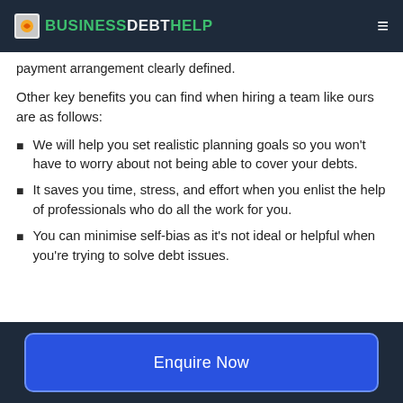BUSINESSDEBTHELP
payment arrangement clearly defined.
Other key benefits you can find when hiring a team like ours are as follows:
We will help you set realistic planning goals so you won't have to worry about not being able to cover your debts.
It saves you time, stress, and effort when you enlist the help of professionals who do all the work for you.
You can minimise self-bias as it's not ideal or helpful when you're trying to solve debt issues.
Enquire Now